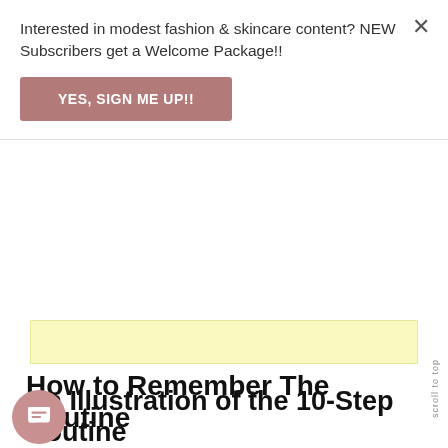Interested in modest fashion & skincare content? NEW Subscribers get a Welcome Package!!
YES, SIGN ME UP!!
[Figure (other): Yellow banner strip decorative element]
How to Remember The Routine
It's one thing to know the rule of thumb, it's another thing to remember to use it. Sometimes, I'm not able to differentiate which product should go before the other so I use these two tips to guide my layering.
An Illustration of the 10-Step Routine